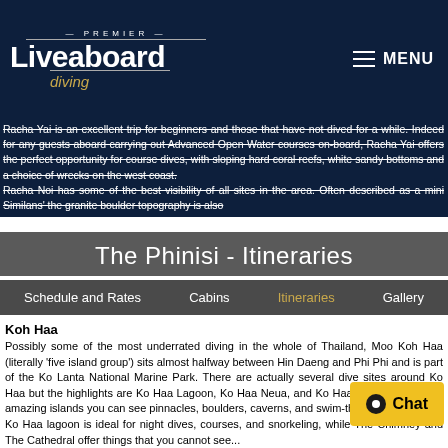Premier Liveaboard Diving - MENU
Racha Yai is an excellent trip for beginners and those that have not dived for a while. Indeed for any guests aboard carrying out Advanced Open Water courses on-board, Racha Yai offers the perfect opportunity for course dives, with sloping hard coral reefs, white sandy bottoms and a choice of wrecks on the west coast. Racha Noi has some of the best visibility of all sites in the area. Often described as a mini Similans' the granite boulder topography is also
The Phinisi - Itineraries
Schedule and Rates  Cabins  Itineraries  Gallery
Koh Haa
Possibly some of the most underrated diving in the whole of Thailand, Moo Koh Haa (literally 'five island group') sits almost halfway between Hin Daeng and Phi Phi and is part of the Ko Lanta National Marine Park. There are actually several dive sites around Ko Haa but the highlights are Ko Haa Lagoon, Ko Haa Neua, and Ko Haa Yai. Around these amazing islands you can see pinnacles, boulders, caverns, and swim-throughs.
Ko Haa lagoon is ideal for night dives, courses, and snorkeling, while The Chimney and The Cathedral offer things that you cannot see...